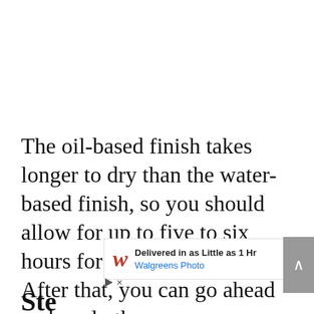The oil-based finish takes longer to dry than the water-based finish, so you should allow for up to five to six hours for the first coat to dry. After that, you can go ahead and apply the
[Figure (other): Walgreens advertisement overlay: 'Delivered in as Little as 1 Hr / Walgreens Photo' with Walgreens logo and navigation arrow icon]
Ste